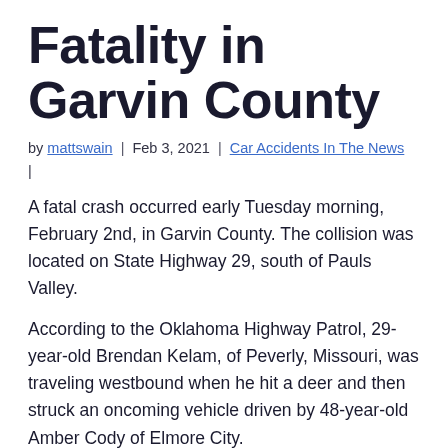Fatality in Garvin County
by mattswain | Feb 3, 2021 | Car Accidents In The News |
A fatal crash occurred early Tuesday morning, February 2nd, in Garvin County. The collision was located on State Highway 29, south of Pauls Valley.
According to the Oklahoma Highway Patrol, 29-year-old Brendan Kelam, of Peverly, Missouri, was traveling westbound when he hit a deer and then struck an oncoming vehicle driven by 48-year-old Amber Cody of Elmore City.
Both Kelam and Cody veered off the roadway, with Cody's vehicle crashing into a barbed wire fence. Sadly, Cody was pronounced dead at the scene.